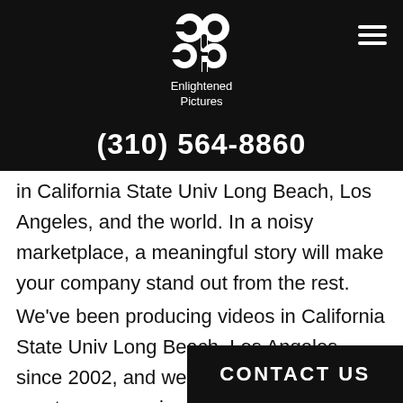[Figure (logo): Enlightened Pictures logo with stylized 'ep' icon in white on black background, with text 'Enlightened Pictures' below]
(310) 564-8860
in California State Univ Long Beach, Los Angeles, and the world. In a noisy marketplace, a meaningful story will make your company stand out from the rest.
We've been producing videos in California State Univ Long Beach, Los Angeles since 2002, and we know what it takes to create an engaging story that will make your business s… an ad campaign for your business or a
[Figure (other): CONTACT US button — black background with white bold uppercase text]